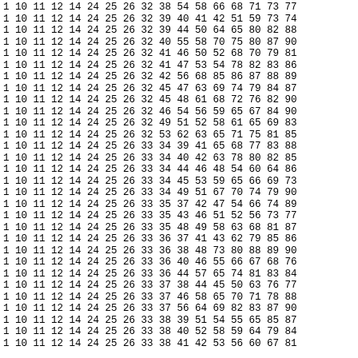1 10 11 12 14 24 25 26 32 38 54 58 66 68 71 73 77
1 10 11 12 14 24 25 26 32 39 40 41 42 51 59 73 74
1 10 11 12 14 24 25 26 32 39 44 50 64 65 80 82 88
1 10 11 12 14 24 25 26 32 40 55 58 70 75 80 87 90
1 10 11 12 14 24 25 26 32 41 46 50 52 68 70 79 81
1 10 11 12 14 24 25 26 32 41 47 53 54 78 82 83 86
1 10 11 12 14 24 25 26 32 42 56 68 85 86 87 88 89
1 10 11 12 14 24 25 26 32 45 47 63 69 74 79 84 87
1 10 11 12 14 24 25 26 32 45 48 61 68 72 76 82 90
1 10 11 12 14 24 25 26 32 46 54 56 59 65 67 84 90
1 10 11 12 14 24 25 26 32 49 51 52 58 61 65 69 83
1 10 11 12 14 24 25 26 32 53 62 63 65 71 75 81 85
1 10 11 12 14 24 25 26 33 34 39 41 65 68 77 83 88
1 10 11 12 14 24 25 26 33 34 40 42 63 78 80 82 85
1 10 11 12 14 24 25 26 33 34 44 46 48 54 60 64 86
1 10 11 12 14 24 25 26 33 34 45 53 59 65 66 69 73
1 10 11 12 14 24 25 26 33 34 49 51 67 70 74 79 90
1 10 11 12 14 24 25 26 33 35 37 42 47 54 66 74 89
1 10 11 12 14 24 25 26 33 35 43 46 51 52 56 73 77
1 10 11 12 14 24 25 26 33 35 48 49 58 63 68 81 87
1 10 11 12 14 24 25 26 33 36 37 41 43 62 79 85 86
1 10 11 12 14 24 25 26 33 36 38 48 73 80 88 89 90
1 10 11 12 14 24 25 26 33 36 40 46 55 66 67 68 76
1 10 11 12 14 24 25 26 33 36 44 57 65 74 81 83 84
1 10 11 12 14 24 25 26 33 37 38 44 45 50 63 76 77
1 10 11 12 14 24 25 26 33 37 46 58 65 70 71 78 88
1 10 11 12 14 24 25 26 33 37 56 64 69 82 83 87 90
1 10 11 12 14 24 25 26 33 38 39 51 54 55 65 85 87
1 10 11 12 14 24 25 26 33 38 40 52 58 59 64 79 84
1 10 11 12 14 24 25 26 33 38 41 42 53 56 60 67 81